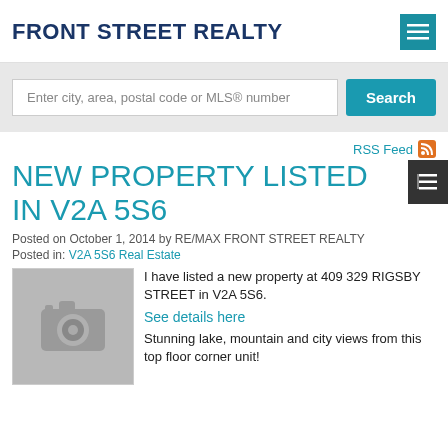FRONT STREET REALTY
Enter city, area, postal code or MLS® number
RSS Feed
NEW PROPERTY LISTED IN V2A 5S6
Posted on October 1, 2014 by RE/MAX FRONT STREET REALTY
Posted in: V2A 5S6 Real Estate
[Figure (photo): Placeholder image with camera icon (grey background)]
I have listed a new property at 409 329 RIGSBY STREET in V2A 5S6.
See details here
Stunning lake, mountain and city views from this top floor corner unit!